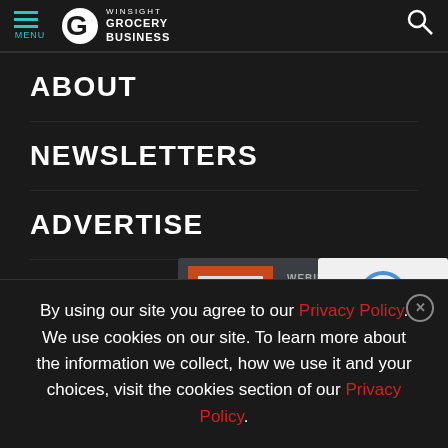MENU | WINSIGHT GROCERY BUSINESS
ABOUT
NEWSLETTERS
ADVERTISE
MAGA[ZINE]
[Figure (screenshot): Advertisement banner: WEBINAR - Build a To-Go Experience with Appealing Displays, ALTO-SHAAM brand logo]
[Figure (screenshot): Google reCAPTCHA widget showing Privacy - Terms]
By using our site you agree to our Privacy Policy. We use cookies on our site. To learn more about the information we collect, how we use it and your choices, visit the cookies section of our Privacy Policy.